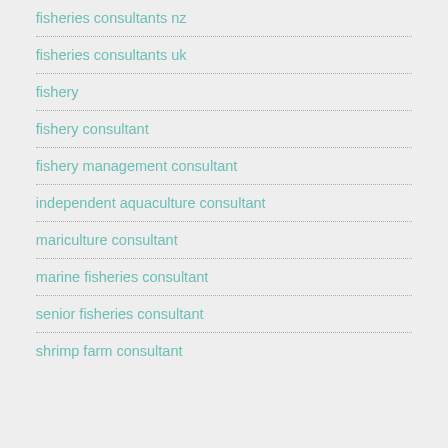fisheries consultants nz
fisheries consultants uk
fishery
fishery consultant
fishery management consultant
independent aquaculture consultant
mariculture consultant
marine fisheries consultant
senior fisheries consultant
shrimp farm consultant